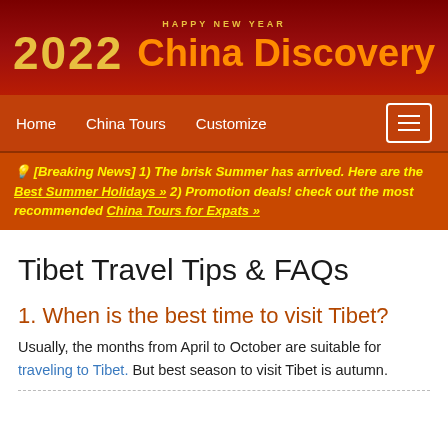[Figure (logo): China Discovery website header with 'Happy New Year 2022' text and 'China Discovery' branding on dark red background]
Home   China Tours   Customize   [menu icon]
💡 [Breaking News] 1) The brisk Summer has arrived. Here are the Best Summer Holidays » 2) Promotion deals! check out the most recommended China Tours for Expats »
Tibet Travel Tips & FAQs
1. When is the best time to visit Tibet?
Usually, the months from April to October are suitable for traveling to Tibet. But best season to visit Tibet is autumn.